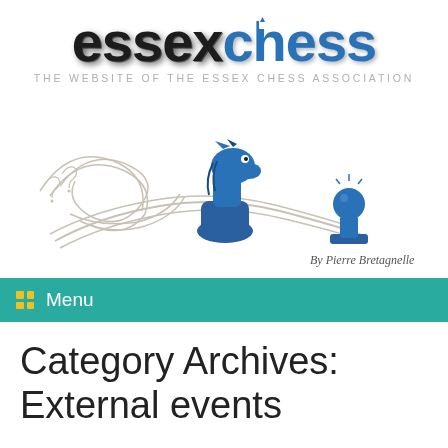[Figure (logo): Essex Chess logo with 'essex' in black bold and 'chess' in blue bold, with a chess piece integrated into the letter 'h']
THE WEBSITE OF THE ESSEX CHESS ASSOCIATION
[Figure (illustration): Cartoon illustration of a blue chess knight chasing a blue chess pawn, with swooping motion lines. Caption reads 'By Pierre Bretagnelle']
Menu
Category Archives: External events